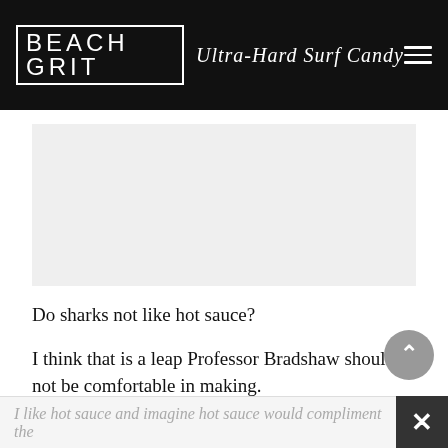BEACH GRIT Ultra-Hard Surf Candy
[Figure (other): Light gray advertisement placeholder rectangle]
Do sharks not like hot sauce?
I think that is a leap Professor Bradshaw should not be comfortable in making.
I like hot sauce and imagine hot sauce would compliment the